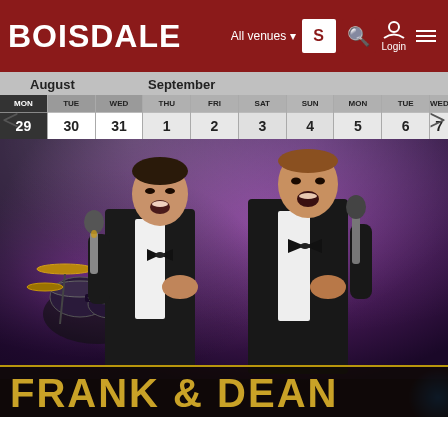BOISDALE  All venues  S  Login
| MON | TUE | WED | THU | FRI | SAT | SUN | MON | TUE | WED |
| --- | --- | --- | --- | --- | --- | --- | --- | --- | --- |
| 29 | 30 | 31 | 1 | 2 | 3 | 4 | 5 | 6 | 7 |
[Figure (photo): Two male performers in black tuxedos holding microphones on stage with purple stage lighting and a drum kit visible in the background. Gold text at bottom reads FRANK & DEAN.]
FRANK & DEAN